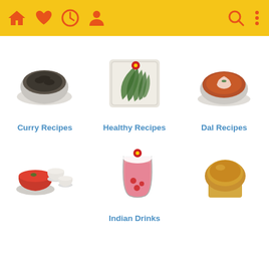[Figure (screenshot): Mobile app toolbar with yellow background showing home, heart, clock, and person icons on the left, and search and menu (three dots) icons on the right, all in orange-red color]
[Figure (photo): Bowl of dark curry or vegetable dish]
[Figure (photo): Square plate with arranged green leaves/vegetables and a red flower garnish]
[Figure (photo): Bowl of dal (lentil soup) with white cream and herbs on top]
Curry Recipes
Healthy Recipes
Dal Recipes
[Figure (photo): Tea set with small cups and a red sauce dish]
[Figure (photo): Glass of Indian drink with cream/yogurt and a red flower on top]
[Figure (photo): Golden muffin or corn bread]
Indian Drinks